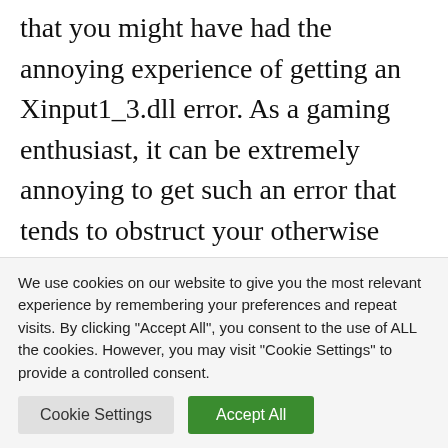that you might have had the annoying experience of getting an Xinput1_3.dll error. As a gaming enthusiast, it can be extremely annoying to get such an error that tends to obstruct your otherwise smooth gaming experience and hinders you from enjoying one of your favorite games.

Unfortunately, if you are a user of Microsoft Windows operating system, then you are bound to
We use cookies on our website to give you the most relevant experience by remembering your preferences and repeat visits. By clicking "Accept All", you consent to the use of ALL the cookies. However, you may visit "Cookie Settings" to provide a controlled consent.